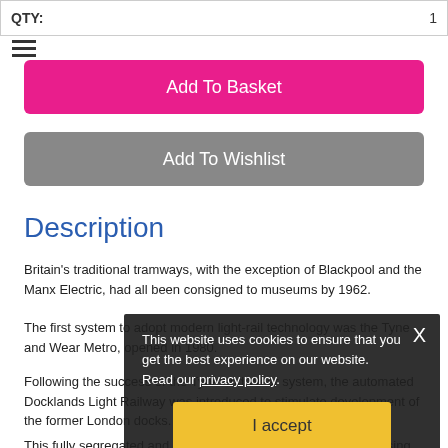QTY: 1
Add To Basket
Add To Wishlist
Description
Britain's traditional tramways, with the exception of Blackpool and the Manx Electric, had all been consigned to museums by 1962.
The first system to adopt modern light-rail technology was the Tyne and Wear Metro, opened in 1980.
Following the success of the Tyne and Wear system, the automated Docklands Light Railway was introduced to stimulate development of the former London docks.
This fully segregated and automated system opened in 1987, using third rail current collection, and has expanded progressively since.
The first example of the return of a street-running tramway came with the opening of Manchester's Metrolink in 1992.
This website uses cookies to ensure that you get the best experience on our website. Read our privacy policy. I accept